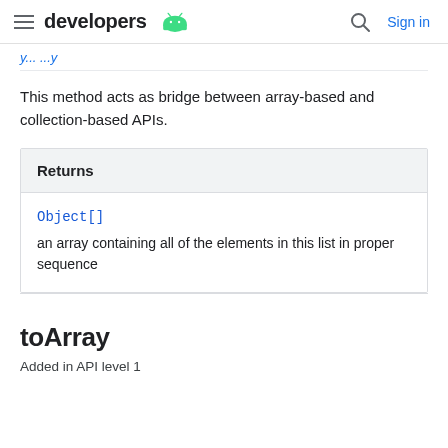developers [Android logo] [search icon] Sign in
This method acts as bridge between array-based and collection-based APIs.
| Returns |
| --- |
| Object[] |
| an array containing all of the elements in this list in proper sequence |
toArray
Added in API level 1